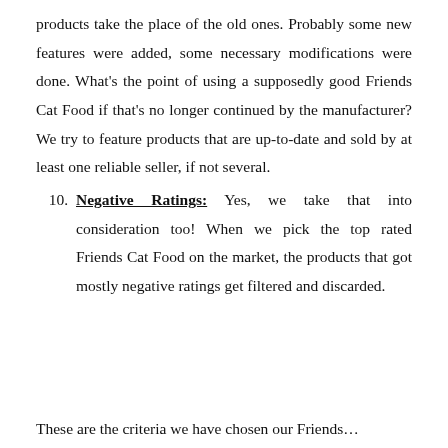products take the place of the old ones. Probably some new features were added, some necessary modifications were done. What's the point of using a supposedly good Friends Cat Food if that's no longer continued by the manufacturer? We try to feature products that are up-to-date and sold by at least one reliable seller, if not several.
10. Negative Ratings: Yes, we take that into consideration too! When we pick the top rated Friends Cat Food on the market, the products that got mostly negative ratings get filtered and discarded.
These are the criteria we have chosen our Friends…